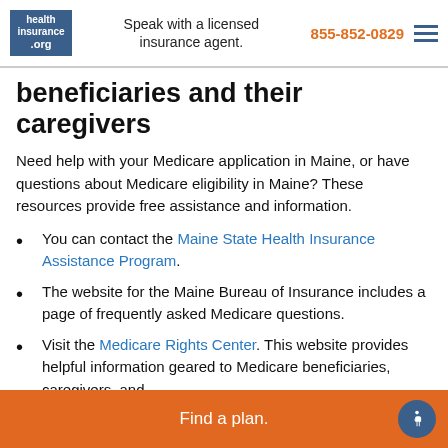healthinsurance.org | Speak with a licensed insurance agent. | 855-852-0829
beneficiaries and their caregivers
Need help with your Medicare application in Maine, or have questions about Medicare eligibility in Maine? These resources provide free assistance and information.
You can contact the Maine State Health Insurance Assistance Program.
The website for the Maine Bureau of Insurance includes a page of frequently asked Medicare questions.
Visit the Medicare Rights Center. This website provides helpful information geared to Medicare beneficiaries, caregivers, and
Find a plan.